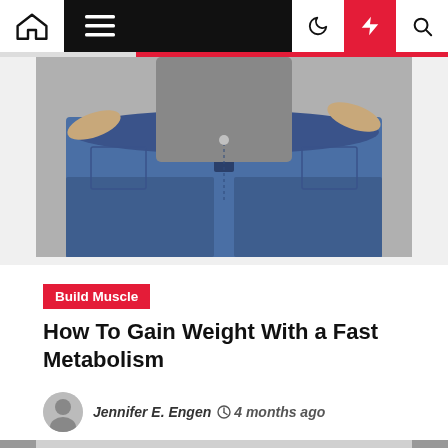Navigation bar with home, menu, moon/dark-mode, bolt/flash, and search icons
[Figure (photo): Person holding out oversized jeans waistband, showing weight loss, grey background]
Build Muscle
How To Gain Weight With a Fast Metabolism
Jennifer E. Engen  4 months ago